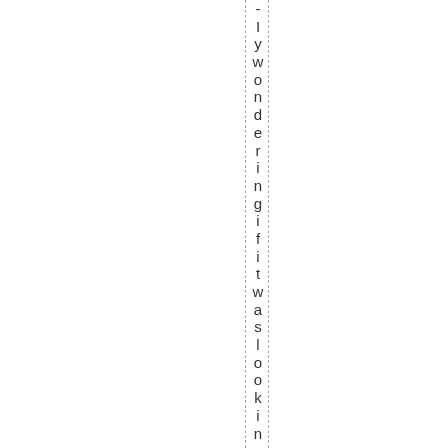- I y w o n d e r i n g i f i t w a s l o o k i n g t h r o u